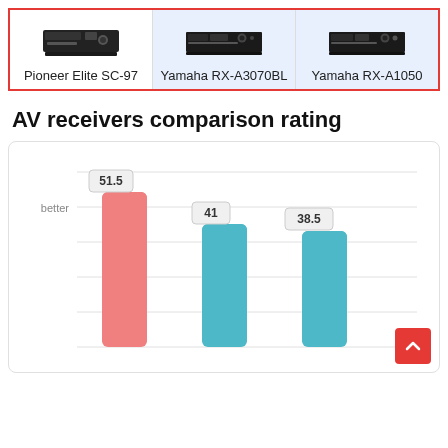[Figure (infographic): Comparison header showing three AV receivers: Pioneer Elite SC-97, Yamaha RX-A3070BL, Yamaha RX-A1050 with product images and names in a bordered row.]
AV receivers comparison rating
[Figure (bar-chart): AV receivers comparison rating]